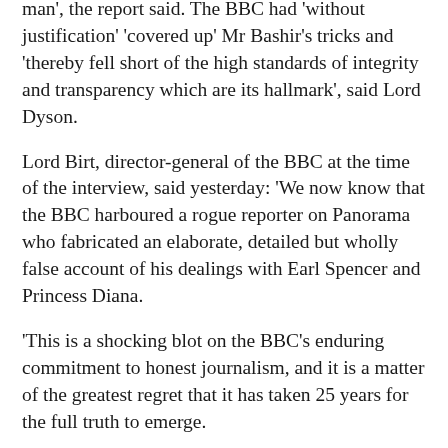man', the report said. The BBC had 'without justification' 'covered up' Mr Bashir's tricks and 'thereby fell short of the high standards of integrity and transparency which are its hallmark', said Lord Dyson.
Lord Birt, director-general of the BBC at the time of the interview, said yesterday: 'We now know that the BBC harboured a rogue reporter on Panorama who fabricated an elaborate, detailed but wholly false account of his dealings with Earl Spencer and Princess Diana.
'This is a shocking blot on the BBC's enduring commitment to honest journalism, and it is a matter of the greatest regret that it has taken 25 years for the full truth to emerge.
'As the director-general at the time, I offer my deep apologies to Earl Spencer and to all others affected.'
Lord Hall yesterday insisted his 'integrity' remained